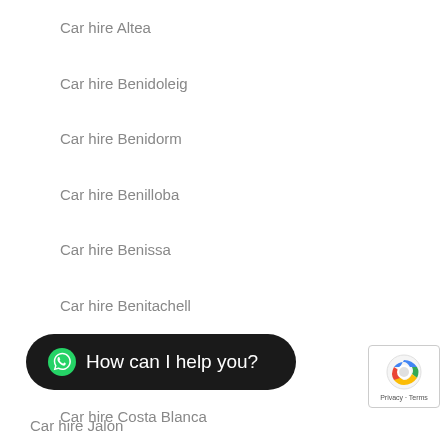Car hire Altea
Car hire Benidoleig
Car hire Benidorm
Car hire Benilloba
Car hire Benissa
Car hire Benitachell
Car hire Calpe
Car hire Costa Blanca
Car hire Costa Blanca North
Car hire Cumbre del Sol
Car hire Denia
Car hire El Vergel
Car hire Finestrat
Car hire Jalon